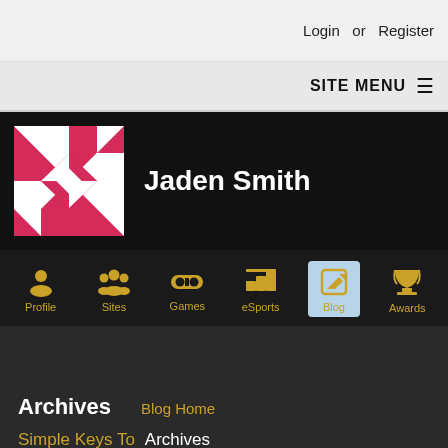Login or Register
SITE MENU
Jaden Smith
[Figure (illustration): Red and white geometric quilt pattern avatar]
Profile
Sites
Games
eSports
Blog
Awards
Archives
Blog Home
Simple Keys To  Archives
Search Engine  2020